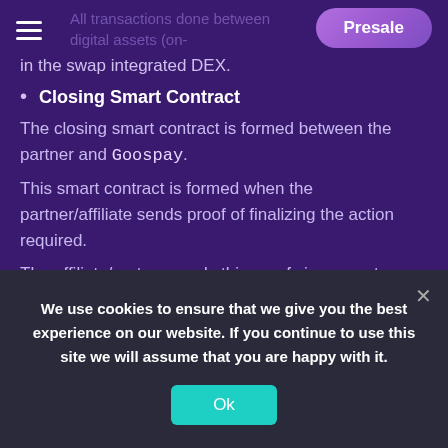Presale
in the swap integrated DEX.
Closing Smart Contract
The closing smart contract is formed between the partner and Goospay.
This smart contract is formed when the partner/affiliate sends proof of finalizing the action required.
The affiliate/partner sends this proof via a smart contract and it's checked and confirmed with the checkout smart contract.
After the closing smart contract, Goospay would allow 48h for disputes. If no dispute after 48h, a bank
We use cookies to ensure that we give you the best experience on our website. If you continue to use this site we will assume that you are happy with it.